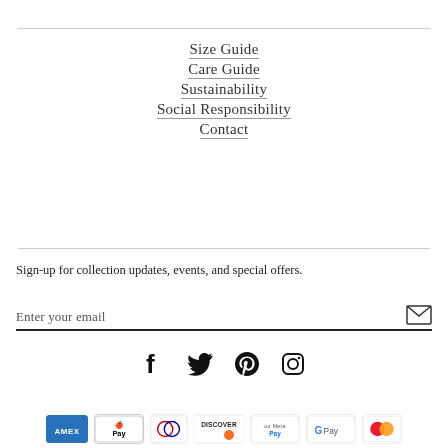Size Guide
Care Guide
Sustainability
Social Responsibility
Contact
Sign-up for collection updates, events, and special offers.
Enter your email
[Figure (infographic): Social media icons: Facebook, Twitter, Pinterest, Instagram]
[Figure (infographic): Payment method icons: Amex, Apple Pay, Diners Club, Discover, Meta Pay, Google Pay, Mastercard]